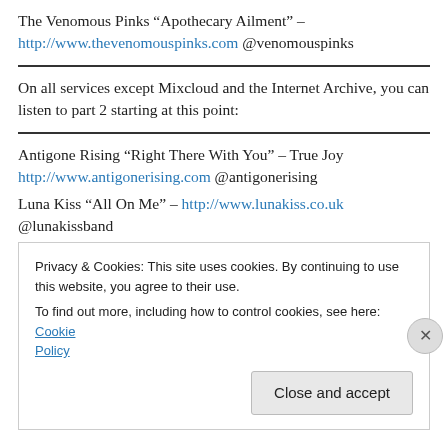The Venomous Pinks “Apothecary Ailment” – http://www.thevenomouspinks.com @venomouspinks
On all services except Mixcloud and the Internet Archive, you can listen to part 2 starting at this point:
Antigone Rising “Right There With You” – True Joy http://www.antigonerising.com @antigonerising
Luna Kiss “All On Me” – http://www.lunakiss.co.uk @lunakissband
Privacy & Cookies: This site uses cookies. By continuing to use this website, you agree to their use. To find out more, including how to control cookies, see here: Cookie Policy